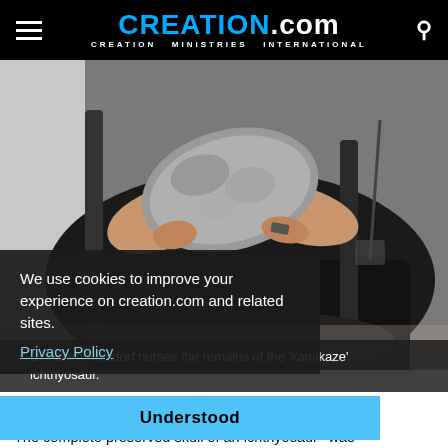CREATION.com — CREATION MINISTRIES INTERNATIONAL
[Figure (photo): A person seated in a chair holding a large fossil skull (ichthyosaur remains) in both hands. The person is wearing dark clothing. The fossil appears grey and rocky.]
Dr Achim Reisdorf nurses the remains of the 'kamikaze' ichthyosaur.
We use cookies to improve your experience on creation.com and related sites.
Privacy Policy
Understood
The complete preserved skull of an ichthyosaur¹ was